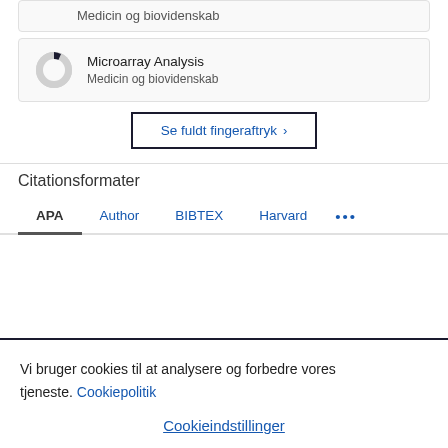Medicin og biovidenskab
[Figure (other): Donut chart icon with 'Microarray Analysis' title and 'Medicin og biovidenskab' subtitle]
Microarray Analysis
Medicin og biovidenskab
Se fuldt fingeraftryk
Citationsformater
APA  Author  BIBTEX  Harvard  ...
Vi bruger cookies til at analysere og forbedre vores tjeneste. Cookiepolitik
Cookieindstillinger